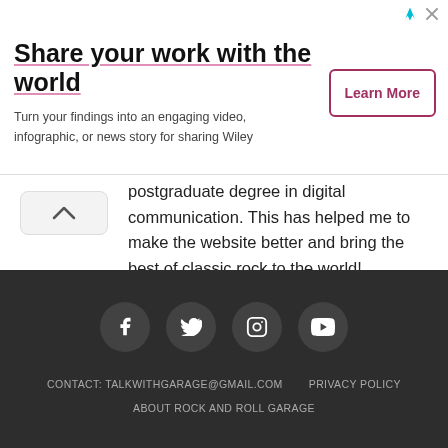[Figure (infographic): Advertisement banner: 'Share your work with the world' with subtitle text and a 'Learn More' button.]
postgraduate degree in digital communication. This has helped me to make the website better and bring the best of classic rock to the world! MTB: 0021377/MG
[Figure (infographic): Email and Twitter social icon buttons (gray outlined boxes).]
CONTACT: TALKWITHGARAGE@GMAIL.COM   PRIVACY POLICY   ABOUT ROCK AND ROLL GARAGE